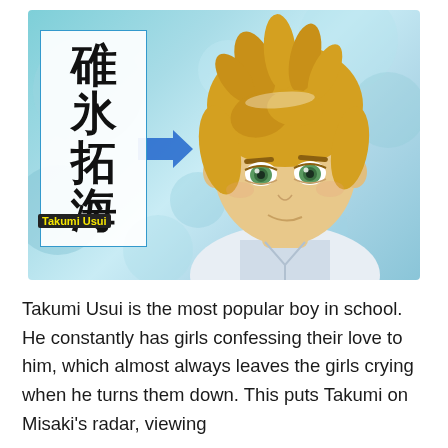[Figure (illustration): Anime character Takumi Usui from Maid Sama, a blonde-haired green-eyed boy in a white collar shirt, with a Japanese name card showing kanji 碓氷拓海 and label 'Takumi Usui', and a blue arrow pointing to the character. Background is a soft blue bokeh style.]
Takumi Usui is the most popular boy in school. He constantly has girls confessing their love to him, which almost always leaves the girls crying when he turns them down. This puts Takumi on Misaki's radar, viewing